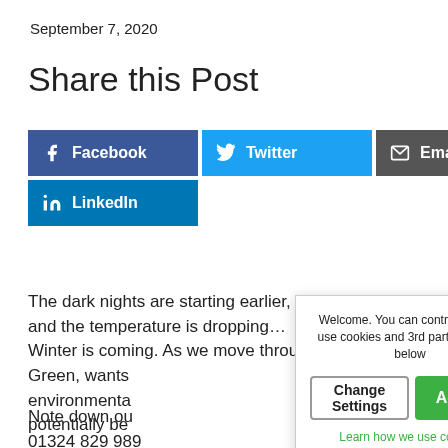September 7, 2020
Share this Post
[Figure (infographic): Social share buttons: Facebook, Twitter, Email, LinkedIn]
The dark nights are starting earlier, and the temperature is dropping… Winter is coming. As we move through Green, wants environmenta potentially be
[Figure (screenshot): Cookie consent popup with 'Welcome. You can control how we use cookies and 3rd party services below', Change Settings button, Accept button, and 'Learn how we use cookies' link]
Note down ou 01324 829 989